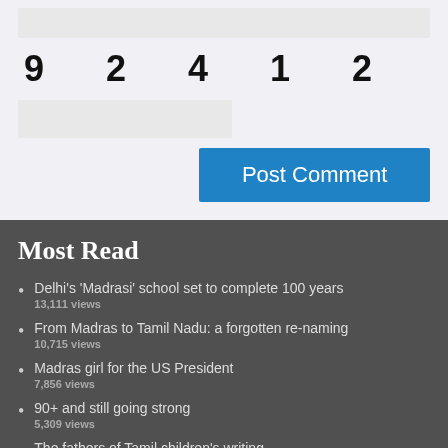[Figure (other): Top input bar (gray rectangle) — likely a text input field]
9  2  4  1  2
[Figure (other): Half-width input box (gray rectangle)]
Post Comment
Most Read
Delhi's 'Madrasi' school set to complete 100 years
13,111 views
From Madras to Tamil Nadu: a forgotten re-naming
10,715 views
Madras girl for the US President
7,856 views
90+ and still going strong
5,309 views
The fathers of Tamil children's writing
4,935 views